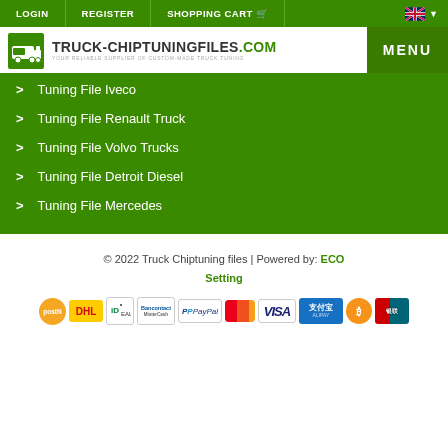LOGIN | REGISTER | SHOPPING CART | EN
[Figure (logo): Truck-ChiptuningFiles.com logo with green truck icon and tagline: YOUR RELIABLE SUPPLIER OF CUSTOM-MADE TRUCK TUNING]
> Tuning File Iveco
> Tuning File Renault Truck
> Tuning File Volvo Trucks
> Tuning File Detroit Diesel
> Tuning File Mercedes
© 2022 Truck Chiptuning files | Powered by: ECO Setting
[Figure (infographic): Payment method logos: PostNL, DHL, iDEAL, Bancontact/MisterCash, PayPal, MasterCard, VISA, Alipay, Bitcoin, UnionPay]